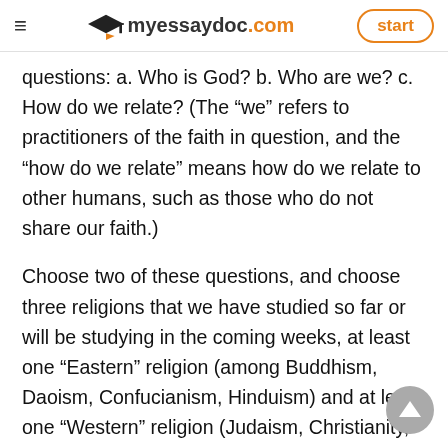myessaydoc.com | start
questions: a. Who is God? b. Who are we? c. How do we relate? (The “we” refers to practitioners of the faith in question, and the “how do we relate” means how do we relate to other humans, such as those who do not share our faith.)
Choose two of these questions, and choose three religions that we have studied so far or will be studying in the coming weeks, at least one “Eastern” religion (among Buddhism, Daoism, Confucianism, Hinduism) and at least one “Western” religion (Judaism, Christianity, Islam). You must use primary sources (the scriptures of the religions) to answer the two questions, in